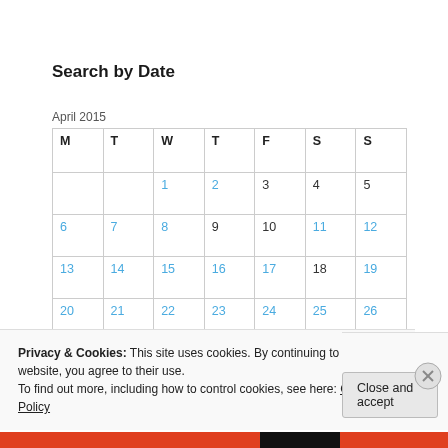Search by Date
April 2015
| M | T | W | T | F | S | S |
| --- | --- | --- | --- | --- | --- | --- |
|  |  | 1 | 2 | 3 | 4 | 5 |
| 6 | 7 | 8 | 9 | 10 | 11 | 12 |
| 13 | 14 | 15 | 16 | 17 | 18 | 19 |
| 20 | 21 | 22 | 23 | 24 | 25 | 26 |
Privacy & Cookies: This site uses cookies. By continuing to use this website, you agree to their use.
To find out more, including how to control cookies, see here: Cookie Policy
Close and accept